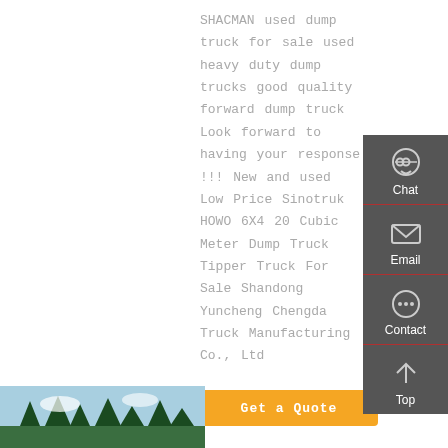SHACMAN used dump truck for sale used heavy duty dump trucks good quality forward dump truck Look forward to having your response !!! New and used Low Price Sinotruk HOWO 6X4 20 Cubic Meter Dump Truck Tipper Truck For Sale Shandong Yuncheng Chengda Truck Manufacturing Co., Ltd
[Figure (other): Sidebar widget panel with dark gray background showing Chat (headset icon), Email (envelope icon), Contact (speech bubble icon), and Top (upward arrow icon) buttons with red separators]
[Figure (photo): Bottom-left photo strip showing outdoor scene with trees and sky]